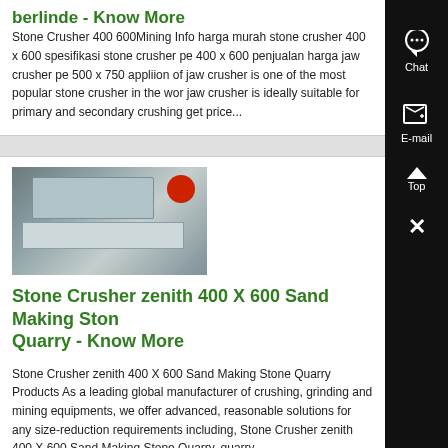berlinde - Know More
Stone Crusher 400 600Mining Info harga murah stone crusher 400 x 600 spesifikasi stone crusher pe 400 x 600 penjualan harga jaw crusher pe 500 x 750 appliion of jaw crusher is one of the most popular stone crusher in the wor jaw crusher is ideally suitable for primary and secondary crushing get price...
[Figure (photo): Photo of stone crusher / mining machinery equipment showing a conveyor or jaw crusher machine]
Stone Crusher zenith 400 X 600 Sand Making Stone Quarry - Know More
Stone Crusher zenith 400 X 600 Sand Making Stone Quarry Products As a leading global manufacturer of crushing, grinding and mining equipments, we offer advanced, reasonable solutions for any size-reduction requirements including, Stone Crusher zenith 400 X 600 Sand Making Stone Quarry, quarry,